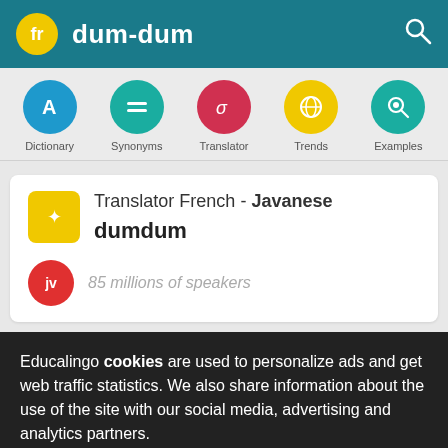fr  dum-dum
[Figure (screenshot): Navigation icons row: Dictionary (blue circle with A), Synonyms (teal circle with equals), Translator (red circle with sigma), Trends (yellow circle with globe), Examples (teal circle with magnifier)]
Translator French - Javanese
dumdum
85 millions of speakers
Educalingo cookies are used to personalize ads and get web traffic statistics. We also share information about the use of the site with our social media, advertising and analytics partners.
View details   Got it